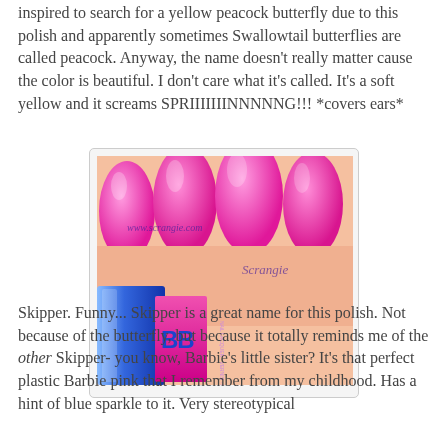inspired to search for a yellow peacock butterfly due to this polish and apparently sometimes Swallowtail butterflies are called peacock. Anyway, the name doesn't really matter cause the color is beautiful. I don't care what it's called. It's a soft yellow and it screams SPRIIIIIIINNNNNG!!! *covers ears*
[Figure (photo): Close-up photo of hand with hot pink/magenta nail polish on fingernails, with a blue nail polish bottle (BB brand) in the foreground. Watermark text 'www.scrangie.com' and 'Scrangie' visible on the image.]
Skipper. Funny... Skipper is a great name for this polish. Not because of the butterfly, but because it totally reminds me of the other Skipper- you know, Barbie's little sister? It's that perfect plastic Barbie pink that I remember from my childhood. Has a hint of blue sparkle to it. Very stereotypical